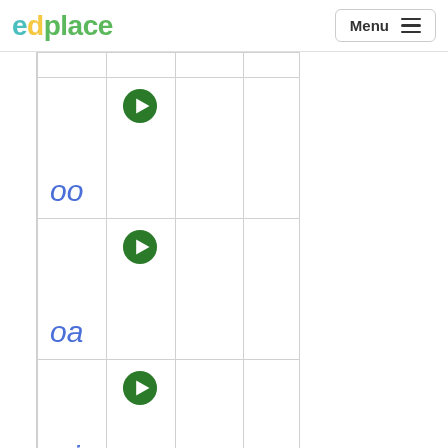[Figure (logo): EdPlace logo with 'ed' in teal and 'place' in green]
[Figure (screenshot): Menu button with hamburger icon]
|  | ▶ |  |  |
| oo |  |  |  |
|  | ▶ |  |  |
| oa |  |  |  |
|  | ▶ |  |  |
| oi |  |  |  |
[Figure (other): Green play button circle for 'oo' phoneme row]
[Figure (other): Green play button circle for 'oa' phoneme row]
[Figure (other): Green play button circle for 'oi' phoneme row]